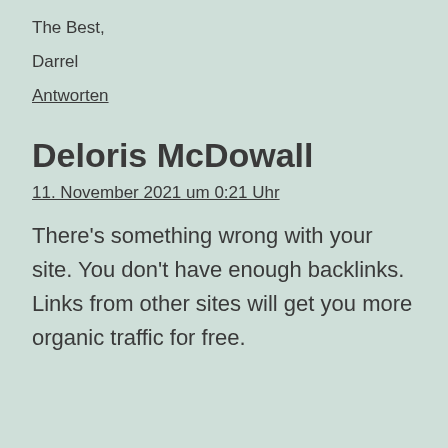The Best,
Darrel
Antworten
Deloris McDowall
11. November 2021 um 0:21 Uhr
There’s something wrong with your site. You don’t have enough backlinks. Links from other sites will get you more organic traffic for free.